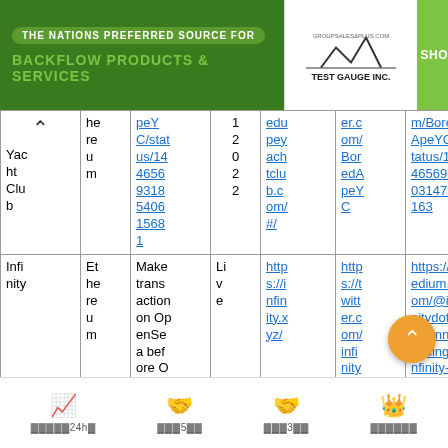[Figure (screenshot): Advertisement banner: 'THE NATIONS PREFERRED SOURCE FOR BACKFLOW PRODUCTS & SERVICES' with Test Gauge Inc. logo and SHOP TODAY button]
| Name | Token | Link | Year | Website | Twitter | Medium/Other |
| --- | --- | --- | --- | --- | --- | --- |
| Yacht Club | Ethereum | peYC/status/14465693185406 15681 | 1 2 0 2 2 | edapeyachtclub.com/#/ | er.com/BoredApeYC | m/BoredApeYC/status/144656932 031471 6163 |
| Infinity | Ethereum | Make transaction on OpenSea before October 4th, 2021 11:59 PM... | Live | https://infinity.xyz/ | https://twitter.com/infinitydotxyz | https://medium.com/@infinitydotxyz/announcing-infinity-e-ftx-oi-nfts-e0c2930b5f... |
24h | 5 | 3 | crown icon